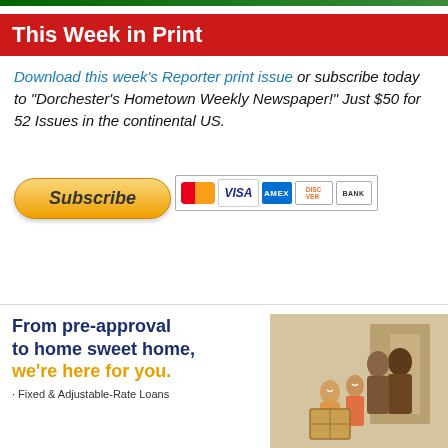This Week in Print
Download this week's Reporter print issue or subscribe today to "Dorchester's Hometown Weekly Newspaper!" Just $50 for 52 Issues in the continental US.
[Figure (other): Subscribe button with PayPal-style yellow rounded button labeled 'Subscribe' and payment icons: Mastercard, VISA, American Express, Discover, BANK]
[Figure (other): Advertisement: From pre-approval to home sweet home, we're here for you. Fixed & Adjustable-Rate Loans. Shows a happy family moving into a home.]